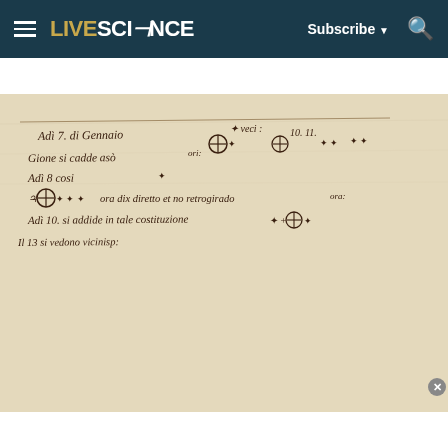LIVESCIENCE — Subscribe — Search
VIEW MORE ▶
[Figure (photo): A historical handwritten manuscript page in Italian, showing astronomical observations with drawings of Jupiter and its moons (represented as circles with cross patterns and stars). The text appears to be Galileo's notes on the moons of Jupiter, dated entries including 'Adi 7 di Gennaio', 'Adì 8 cosi', 'Adì 14 è muglio', with sketches of star positions relative to Jupiter.]
Doctors Stunned: If You Have Diabetes, You
n/a